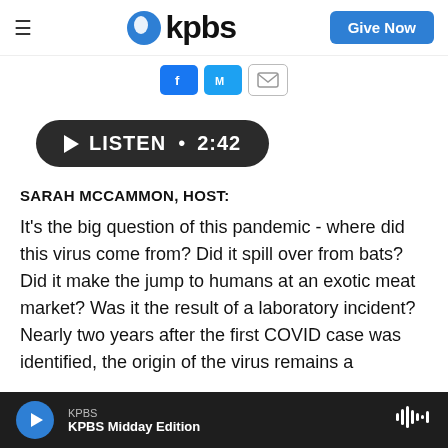KPBS
[Figure (screenshot): LISTEN • 2:42 audio play button in dark rounded pill shape]
SARAH MCCAMMON, HOST:
It's the big question of this pandemic - where did this virus come from? Did it spill over from bats? Did it make the jump to humans at an exotic meat market? Was it the result of a laboratory incident? Nearly two years after the first COVID case was identified, the origin of the virus remains a
KPBS
KPBS Midday Edition